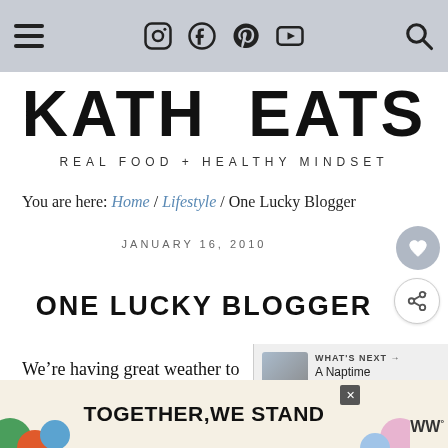Navigation bar with hamburger menu, social icons (Instagram, Facebook, Pinterest, YouTube), and search icon
KATH EATS
REAL FOOD + HEALTHY MINDSET
You are here: Home / Lifestyle / One Lucky Blogger
JANUARY 16, 2010
ONE LUCKY BLOGGER
We’re having great weather to play in the city!!!
WHAT'S NEXT → A Naptime Circuit...
[Figure (screenshot): Advertisement banner reading TOGETHER, WE STAND with colorful decorative shapes on left and right sides, close button, and 'we' logo with degree symbol]